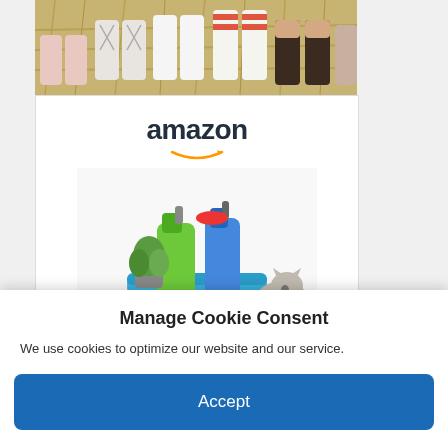[Figure (photo): Top strip showing multiple pairs of feet/socks arranged on hay/straw background]
[Figure (photo): Amazon advertisement showing the Amazon logo with smile arrow, a blue cleaning tub with green spray bottle, blue spray bottle, and plant, with text 'Book House Cleaning, Furniture Assembly & More' and '> Shop now']
Manage Cookie Consent
We use cookies to optimize our website and our service.
Accept